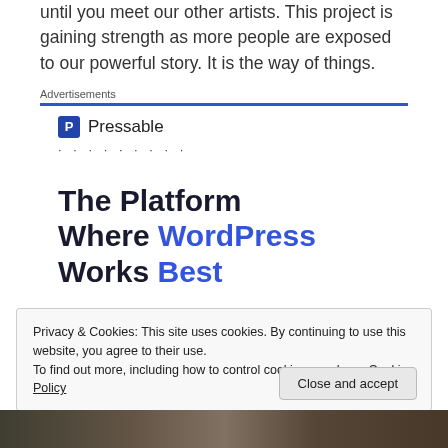until you meet our other artists. This project is gaining strength as more people are exposed to our powerful story. It is the way of things.
Advertisements
[Figure (logo): Pressable logo with blue 'P' icon and text 'Pressable', followed by a row of dots]
The Platform Where WordPress Works Best
Privacy & Cookies: This site uses cookies. By continuing to use this website, you agree to their use.
To find out more, including how to control cookies, see here: Cookie Policy
Close and accept
[Figure (photo): Bottom strip showing partial photo of people]